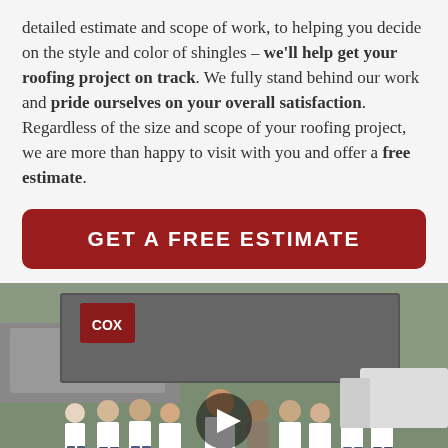detailed estimate and scope of work, to helping you decide on the style and color of shingles – we'll help get your roofing project on track. We fully stand behind our work and pride ourselves on your overall satisfaction. Regardless of the size and scope of your roofing project, we are more than happy to visit with you and offer a free estimate.
[Figure (other): Red rounded button with white text reading GET A FREE ESTIMATE]
[Figure (photo): Group photo of Cox roofing company team members standing in front of company trucks with Cox branding. A play button overlay is visible in the center, indicating this is a video thumbnail.]